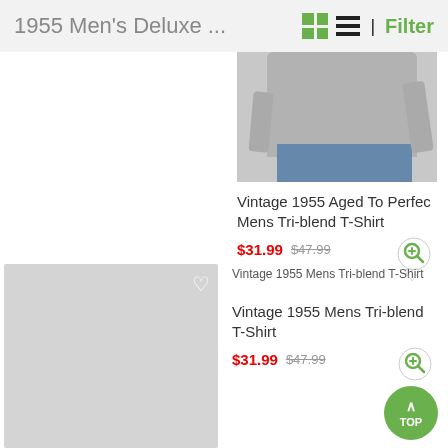1955 Men's Deluxe ...
[Figure (photo): Partial photo of a person wearing a gray t-shirt and jeans, cropped from mid-torso upward, shown from behind on the right column]
Vintage 1955 Aged To Perfec Mens Tri-blend T-Shirt
$31.99  $47.99
[Figure (photo): Gray placeholder image for product thumbnail on left side]
1955 Aged To Perfection Mens Tri-blend T-Shirt
[Figure (screenshot): Broken image icon labeled: Vintage 1955 Mens Tri-blend T-Shirt]
Vintage 1955 Mens Tri-blend T-Shirt
$31.99  $47.99